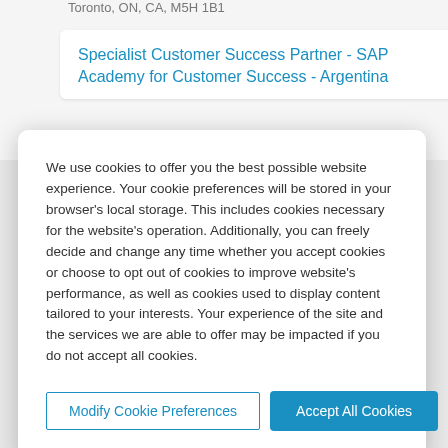Toronto, ON, CA, M5H 1B1
Specialist Customer Success Partner - SAP Academy for Customer Success - Argentina
We use cookies to offer you the best possible website experience. Your cookie preferences will be stored in your browser's local storage. This includes cookies necessary for the website's operation. Additionally, you can freely decide and change any time whether you accept cookies or choose to opt out of cookies to improve website's performance, as well as cookies used to display content tailored to your interests. Your experience of the site and the services we are able to offer may be impacted if you do not accept all cookies.
Modify Cookie Preferences
Accept All Cookies